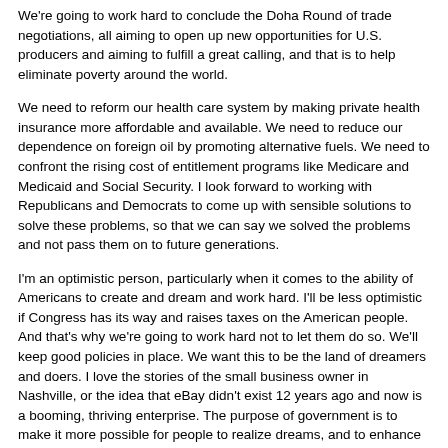We're going to work hard to conclude the Doha Round of trade negotiations, all aiming to open up new opportunities for U.S. producers and aiming to fulfill a great calling, and that is to help eliminate poverty around the world.
We need to reform our health care system by making private health insurance more affordable and available. We need to reduce our dependence on foreign oil by promoting alternative fuels. We need to confront the rising cost of entitlement programs like Medicare and Medicaid and Social Security. I look forward to working with Republicans and Democrats to come up with sensible solutions to solve these problems, so that we can say we solved the problems and not pass them on to future generations.
I'm an optimistic person, particularly when it comes to the ability of Americans to create and dream and work hard. I'll be less optimistic if Congress has its way and raises taxes on the American people. And that's why we're going to work hard not to let them do so. We'll keep good policies in place. We want this to be the land of dreamers and doers. I love the stories of the small business owner in Nashville, or the idea that eBay didn't exist 12 years ago and now is a booming, thriving enterprise. The purpose of government is to make it more possible for people to realize dreams, and to enhance the entrepreneurial spirit. That has been the policies of this administration and it will continue to be the policies of this administration.
Thank you all very much.
END 12:54 P.M. EDT